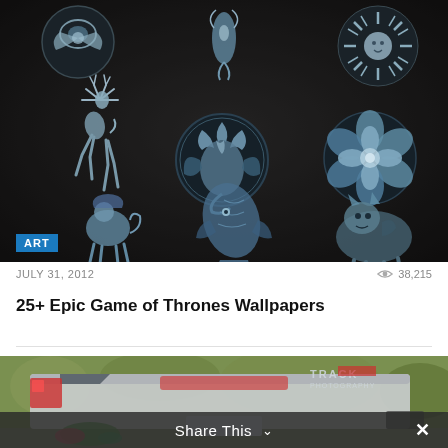[Figure (photo): Game of Thrones house sigil medallions – silver metallic 3D badges of various houses (stag, dragon, direwolf, fish, sun, rose, lion, etc.) arranged on dark background]
ART
JULY 31, 2012
38,215
25+ Epic Game of Thrones Wallpapers
[Figure (photo): Rear view of a silver sports car (Corvette) on a road, with a 'Track Photography' watermark overlay, bokeh green background]
Share This ∨